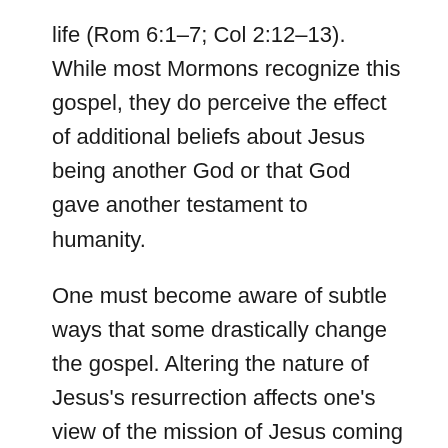life (Rom 6:1–7; Col 2:12–13). While most Mormons recognize this gospel, they do perceive the effect of additional beliefs about Jesus being another God or that God gave another testament to humanity.
One must become aware of subtle ways that some drastically change the gospel. Altering the nature of Jesus's resurrection affects one's view of the mission of Jesus coming to earth, Jesus's sinless nature, Jesus's deity, the infallibility of Jesus's words and the whole Bible, the bodily resurrection of Jesus, and the nature of the afterlife. The apostle Paul revealed,
But even if we or an angel from heaven should preach to you a gospel contrary to the one we